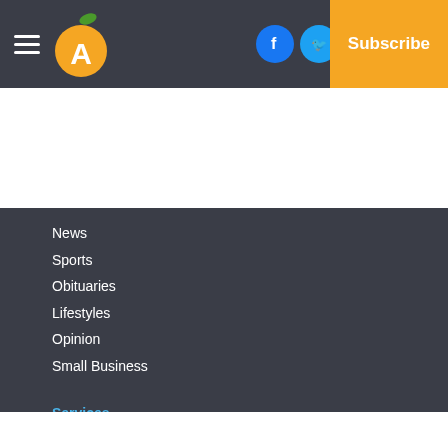[Figure (screenshot): Website navigation header with hamburger menu, orange peach logo with letter A, Facebook, Twitter, and email social icons, Log In text, and orange Subscribe button]
News
Sports
Obituaries
Lifestyles
Opinion
Small Business
Services
About Us
Policies
Subscribe
Submit a News Tip
Submit a Photo
Birth Announcement
Birthday Announcement